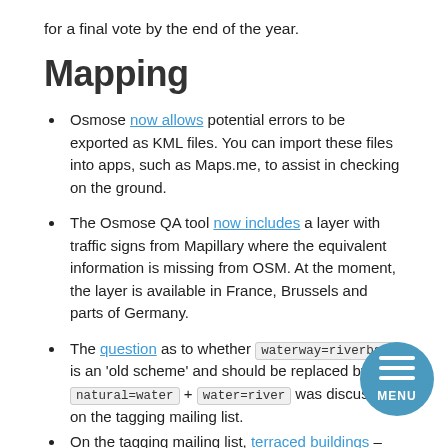for a final vote by the end of the year.
Mapping
Osmose now allows potential errors to be exported as KML files. You can import these files into apps, such as Maps.me, to assist in checking on the ground.
The Osmose QA tool now includes a layer with traffic signs from Mapillary where the equivalent information is missing from OSM. At the moment, the layer is available in France, Brussels and parts of Germany.
The question as to whether waterway=riverbank is an 'old scheme' and should be replaced by natural=water + water=river was discussed on the tagging mailing list.
On the tagging mailing list, terraced buildings –